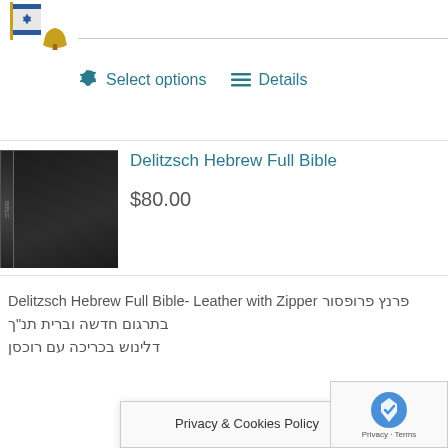[Figure (photo): Logo with Israeli flag and bell icon in top left corner]
⚙ Select options   ☰ Details
[Figure (photo): Photo of a black leather Bible book with spine visible]
Delitzsch Hebrew Full Bible
$80.00
Delitzsch Hebrew Full Bible- Leather with Zipper פרנץ פרופסור בתרגום חדשה וברית תנ"ך דלינוש בכריכה עם רוכסן
Privacy & Cookies Policy